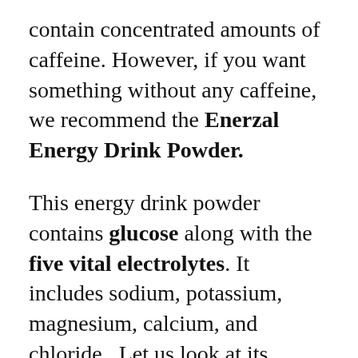contain concentrated amounts of caffeine. However, if you want something without any caffeine, we recommend the Enerzal Energy Drink Powder.
This energy drink powder contains glucose along with the five vital electrolytes. It includes sodium, potassium, magnesium, calcium, and chloride.  Let us look at its individual benefits.
First and foremost, glucose is necessary as it works as an instant energy boost. It